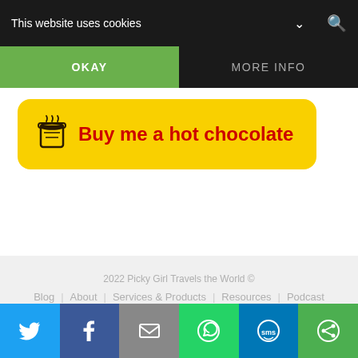This website uses cookies
OKAY
MORE INFO
[Figure (other): Yellow rounded button with coffee cup icon and text 'Buy me a hot chocolate' in red bold font]
2022 Picky Girl Travels the World ©
Blog  About  Services & Products  Resources  Podcast
BACK TO TOP
[Figure (infographic): Social share bar with Twitter, Facebook, Email, WhatsApp, SMS, and Copy link icons]